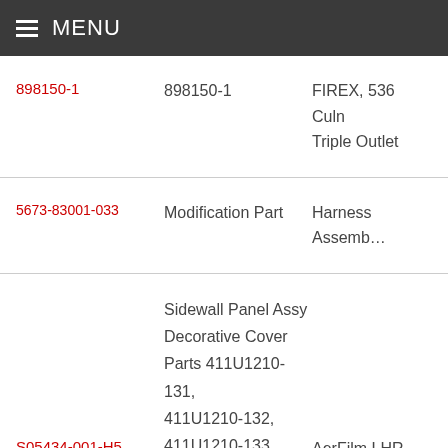MENU
| Part Number | Type | Description |
| --- | --- | --- |
| 898150-1 | 898150-1 | FIREX, 536 Culn Triple Outlet |
| 5673-83001-033 | Modification Part | Harness Assemb… |
| S05434-001-H5 | Sidewall Panel Assy Decorative Cover Parts 411U1210-131, 411U1210-132, 411U1210-133, 411U1210-135, 411U1210-139, 411U1210-140, | AerFilm LHR |